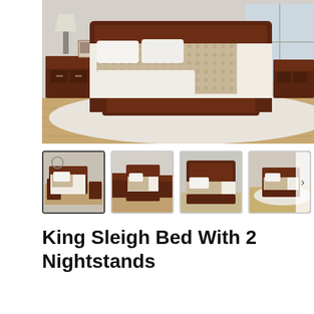[Figure (photo): Main product photo of a king sleigh bed with dark cherry wood finish, flanked by two nightstands, with white and patterned bedding, on a cream rug with hardwood floor background.]
[Figure (photo): Thumbnail 1 (selected): King sleigh bed set in room setting, dark cherry finish, with nightstands.]
[Figure (photo): Thumbnail 2: Front view of king sleigh bed with nightstands, dark cherry finish.]
[Figure (photo): Thumbnail 3: Front view of king sleigh bed headboard and footboard, dark cherry finish, no nightstands.]
[Figure (photo): Thumbnail 4: Angled view of king sleigh bed in room setting with bedding.]
King Sleigh Bed With 2 Nightstands